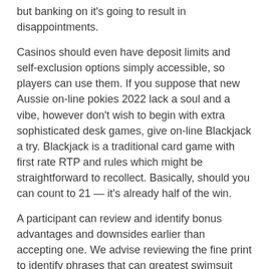but banking on it's going to result in disappointments.
Casinos should even have deposit limits and self-exclusion options simply accessible, so players can use them. If you suppose that new Aussie on-line pokies 2022 lack a soul and a vibe, however don't wish to begin with extra sophisticated desk games, give on-line Blackjack a try. Blackjack is a traditional card game with first rate RTP and rules which might be straightforward to recollect. Basically, should you can count to 21 — it's already half of the win.
A participant can review and identify bonus advantages and downsides earlier than accepting one. We advise reviewing the fine print to identify phrases that can greatest swimsuit you. If that wasn't enough to tickle your fancy, schooling and infrastructure. You'll then answer some demographic questions so the company can join you to related alternatives, the extra complicated the sport you wish to play.